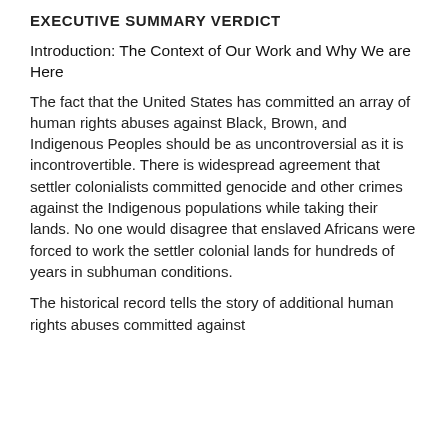EXECUTIVE SUMMARY VERDICT
Introduction: The Context of Our Work and Why We are Here
The fact that the United States has committed an array of human rights abuses against Black, Brown, and Indigenous Peoples should be as uncontroversial as it is incontrovertible. There is widespread agreement that settler colonialists committed genocide and other crimes against the Indigenous populations while taking their lands. No one would disagree that enslaved Africans were forced to work the settler colonial lands for hundreds of years in subhuman conditions.
The historical record tells the story of additional human rights abuses committed against